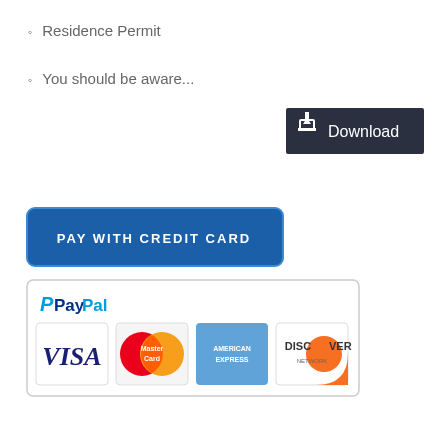Residence Permit
You should be aware...
[Figure (screenshot): Download button with dark background and download icon]
[Figure (screenshot): PAY WITH CREDIT CARD button in blue]
[Figure (screenshot): PayPal payment logos box with Visa, MasterCard, American Express, Discover Network logos]